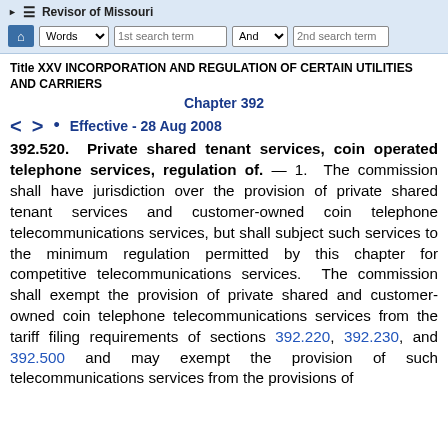Revisor of Missouri — Words | 1st search term | And | 2nd search term
Title XXV INCORPORATION AND REGULATION OF CERTAIN UTILITIES AND CARRIERS
Chapter 392
< > • Effective - 28 Aug 2008
392.520. Private shared tenant services, coin operated telephone services, regulation of. — 1. The commission shall have jurisdiction over the provision of private shared tenant services and customer-owned coin telephone telecommunications services, but shall subject such services to the minimum regulation permitted by this chapter for competitive telecommunications services. The commission shall exempt the provision of private shared and customer-owned coin telephone telecommunications services from the tariff filing requirements of sections 392.220, 392.230, and 392.500 and may exempt the provision of such telecommunications services from the provisions of